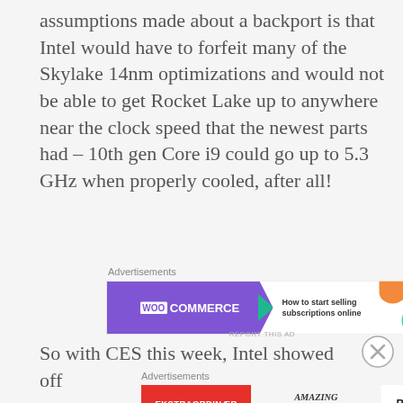assumptions made about a backport is that Intel would have to forfeit many of the Skylake 14nm optimizations and would not be able to get Rocket Lake up to anywhere near the clock speed that the newest parts had – 10th gen Core i9 could go up to 5.3 GHz when properly cooled, after all!
Advertisements
[Figure (other): WooCommerce advertisement banner: purple background with WooCommerce logo, green arrow, text 'How to start selling subscriptions online', orange and teal decorative shapes]
So with CES this week, Intel showed off
Advertisements
[Figure (other): BoConcept advertisement banner: red section with 'EKSTRAORDINÆR', center italic text 'AMAZING DEALS', right side BoConcept logo in bold]